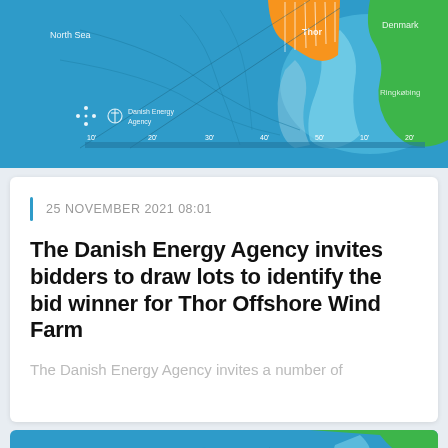[Figure (map): Map showing the North Sea and Danish coastline with the Thor Offshore Wind Farm area highlighted in orange. Blue sea background with contour lines, green land area (Denmark), labels: North Sea, Denmark, Ringkøbing, Thor, Danish Energy Agency logo.]
25 NOVEMBER 2021 08:01
The Danish Energy Agency invites bidders to draw lots to identify the bid winner for Thor Offshore Wind Farm
The Danish Energy Agency invites a number of
[Figure (map): Bottom strip showing another map with similar blue sea and green land colours, partially visible.]